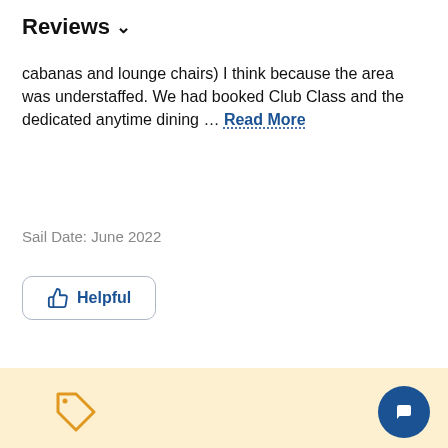Reviews ∨
cabanas and lounge chairs) I think because the area was understaffed. We had booked Club Class and the dedicated anytime dining ... Read More
Sail Date: June 2022
Helpful
← 2 3 4 ... 40 →